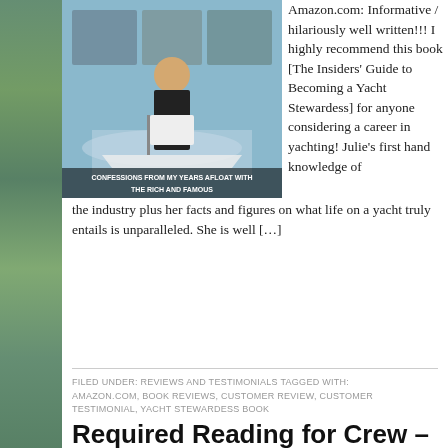[Figure (photo): Book cover for a yacht stewardess guide book. Shows a woman in a white apron with marina/yacht background. Text reads: CONFESSIONS FROM MY YEARS AFLOAT WITH THE RICH AND FAMOUS]
Amazon.com: Informative / hilariously well written!!! I highly recommend this book [The Insiders' Guide to Becoming a Yacht Stewardess] for anyone considering a career in yachting! Julie's first hand knowledge of the industry plus her facts and figures on what life on a yacht truly entails is unparalleled. She is well […]
FILED UNDER: REVIEWS AND TESTIMONIALS TAGGED WITH: AMAZON.COM, BOOK REVIEWS, CUSTOMER REVIEW, CUSTOMER TESTIMONIAL, YACHT STEWARDESS BOOK
Required Reading for Crew – A Recommendation from Yacht Chef & Author